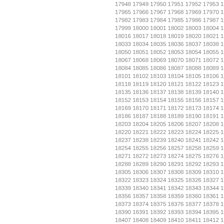17948 17949 17950 17951 17952 17953 17954 17965 17966 17967 17968 17969 17970 17971 17982 17983 17984 17985 17986 17987 17988 17999 18000 18001 18002 18003 18004 18005 18016 18017 18018 18019 18020 18021 18022 18033 18034 18035 18036 18037 18038 18039 18050 18051 18052 18053 18054 18055 18056 18067 18068 18069 18070 18071 18072 18073 18084 18085 18086 18087 18088 18089 18090 18101 18102 18103 18104 18105 18106 18107 18118 18119 18120 18121 18122 18123 18124 18135 18136 18137 18138 18139 18140 18141 18152 18153 18154 18155 18156 18157 18158 18169 18170 18171 18172 18173 18174 18175 18186 18187 18188 18189 18190 18191 18192 18203 18204 18205 18206 18207 18208 18209 18220 18221 18222 18223 18224 18225 18226 18237 18238 18239 18240 18241 18242 18243 18254 18255 18256 18257 18258 18259 18260 18271 18272 18273 18274 18275 18276 18277 18288 18289 18290 18291 18292 18293 18294 18305 18306 18307 18308 18309 18310 18311 18322 18323 18324 18325 18326 18327 18328 18339 18340 18341 18342 18343 18344 18345 18356 18357 18358 18359 18360 18361 18362 18373 18374 18375 18376 18377 18378 18379 18390 18391 18392 18393 18394 18395 18396 18407 18408 18409 18410 18411 18412 18413